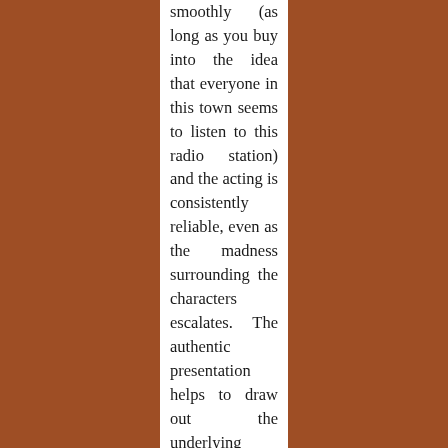smoothly (as long as you buy into the idea that everyone in this town seems to listen to this radio station) and the acting is consistently reliable, even as the madness surrounding the characters escalates. The authentic presentation helps to draw out the underlying satire that picks apart the 24-hour news cycle, the spreading of nonsensical concepts, and the use of language for communication. Director Anderson Lawfer has